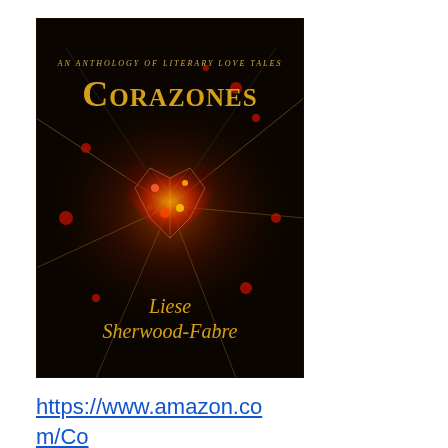[Figure (illustration): Book cover for 'Corazones: An Anthology of Literary Love Tales' by Liese Sherwood-Fabre. Dark background with a glowing crystal/gem heart in red and gold colors with light rays radiating outward. Title text 'CORAZONES' in ornate gold lettering at top with subtitle 'AN ANTHOLOGY OF LITERARY LOVE TALES'. Author name 'Liese Sherwood-Fabre' in gold script at bottom.]
https://www.amazon.com/Corazones-Liese-Sherwood-Fabre